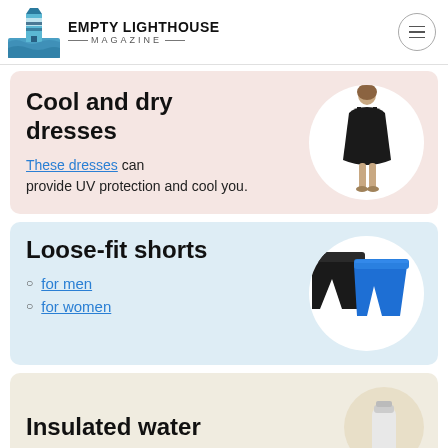EMPTY LIGHTHOUSE MAGAZINE
Cool and dry dresses
These dresses can provide UV protection and cool you.
[Figure (photo): Woman wearing a black dress, shown in a white circle]
Loose-fit shorts
for men
for women
[Figure (photo): Black and blue loose-fit shorts shown in a white circle]
Insulated water
[Figure (photo): Partial white circle with product image, beige background]